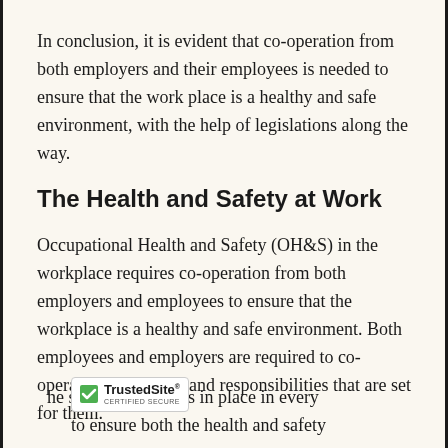In conclusion, it is evident that co-operation from both employers and their employees is needed to ensure that the work place is a healthy and safe environment, with the help of legislations along the way.
The Health and Safety at Work
Occupational Health and Safety (OH&S) in the workplace requires co-operation from both employers and employees to ensure that the workplace is a healthy and safe environment. Both employees and employers are required to co-operate by the rights and responsibilities that are set for them.
he safety procedures in place in every
to ensure both the health and safety